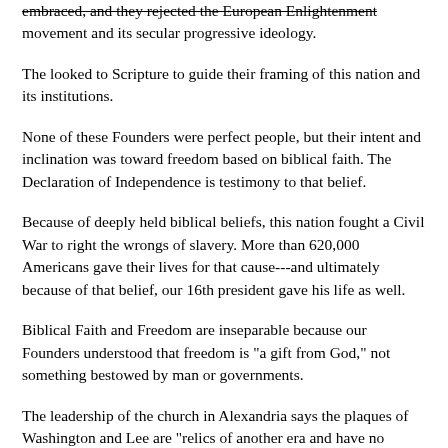embraced, and they rejected the European Enlightenment movement and its secular progressive ideology.
The looked to Scripture to guide their framing of this nation and its institutions.
None of these Founders were perfect people, but their intent and inclination was toward freedom based on biblical faith. The Declaration of Independence is testimony to that belief.
Because of deeply held biblical beliefs, this nation fought a Civil War to right the wrongs of slavery. More than 620,000 Americans gave their lives for that cause---and ultimately because of that belief, our 16th president gave his life as well.
Biblical Faith and Freedom are inseparable because our Founders understood that freedom is "a gift from God," not something bestowed by man or governments.
The leadership of the church in Alexandria says the plaques of Washington and Lee are "relics of another era and have no business in a church that proclaims its motto as 'All are